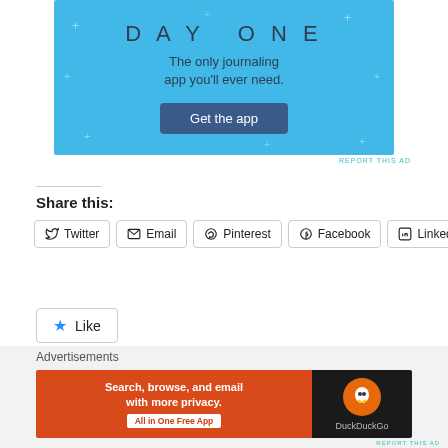[Figure (screenshot): Day One journaling app advertisement banner with blue background, text 'DAY ONE', 'The only journaling app you'll ever need.', and a 'Get the app' button]
REPORT THIS AD
Share this:
Twitter  Email  Pinterest  Facebook  LinkedIn
Like
Be the first to like this.
Advertisements
[Figure (screenshot): DuckDuckGo advertisement: 'Search, browse, and email with more privacy. All in One Free App' with DuckDuckGo logo on dark background]